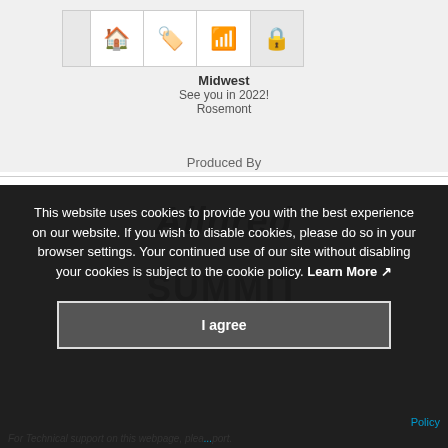[Figure (screenshot): Icon row with home, tag, wifi, and lock icons in white cells]
Midwest
See you in 2022!
Rosemont
Produced By
This website uses cookies to provide you with the best experience on our website. If you wish to disable cookies, please do so in your browser settings. Your continued use of our site without disabling your cookies is subject to the cookie policy. Learn More
I agree
Policy
For Technical support on this webpage, please report.